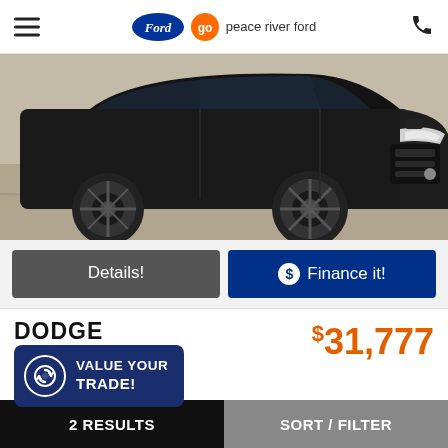Go Peace River Ford — hamburger menu and phone icon
[Figure (photo): Front/side angle of a black Dodge Durango SUV parked indoors on a concrete floor]
Details!
$ Finance it!
DODGE
$31,777
Durango
in Peace River
VALUE YOUR TRADE!
2 RESULTS   SORT / FILTER